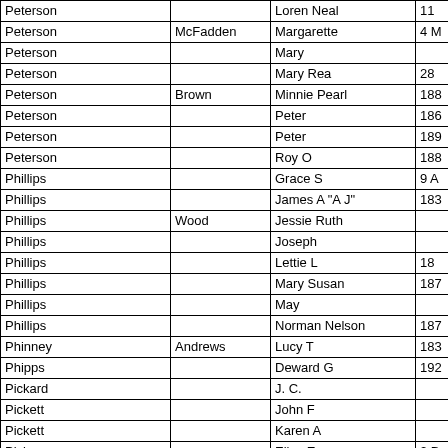| Last Name | Mother's Maiden | First Name | Year/Date |
| --- | --- | --- | --- |
| Peterson |  | Loren Neal | 11 |
| Peterson | McFadden | Margarette | 4 M |
| Peterson |  | Mary |  |
| Peterson |  | Mary Rea | 28 |
| Peterson | Brown | Minnie Pearl | 188 |
| Peterson |  | Peter | 186 |
| Peterson |  | Peter | 189 |
| Peterson |  | Roy O | 188 |
| Phillips |  | Grace S | 9 A |
| Phillips |  | James A  "A J" | 183 |
| Phillips | Wood | Jessie Ruth |  |
| Phillips |  | Joseph |  |
| Phillips |  | Lettie L | 18 |
| Phillips |  | Mary Susan | 187 |
| Phillips |  | May |  |
| Phillips |  | Norman Nelson | 187 |
| Phinney | Andrews | Lucy T | 183 |
| Phipps |  | Deward G | 192 |
| Pickard |  | J. C. |  |
| Pickett |  | John F |  |
| Pickett |  | Karen A |  |
| Pickup |  | Eliza E | 2 D |
| Pierce |  | Lulu |  |
| Pinick |  | Marion Edward | 1 M |
| Pinick |  | Marion J. | 4 D |
| Pinick | Campbell | Maude Gertrude | 20 |
| Pinkerton |  | T | 188 |